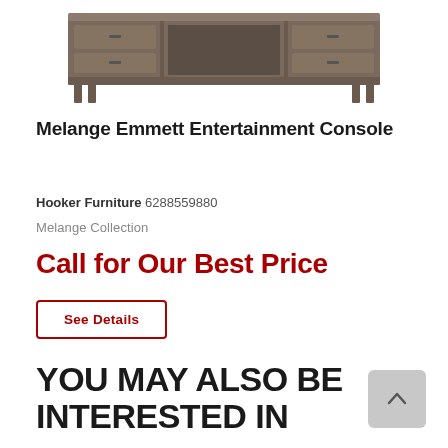[Figure (photo): Product photo of the Melange Emmett Entertainment Console — a dark wood TV console with multiple drawers and open shelving]
Melange Emmett Entertainment Console
Hooker Furniture 6288559880
Melange Collection
Call for Our Best Price
See Details
YOU MAY ALSO BE INTERESTED IN